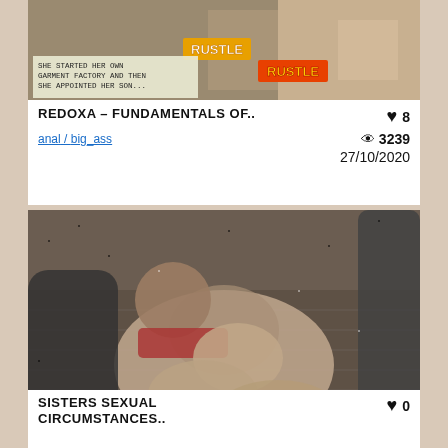[Figure (screenshot): Thumbnail image from adult 3D game/animation, top card]
REDOXA – FUNDAMENTALS OF..
♥ 8
anal / big_ass
👁 3239
27/10/2020
[Figure (screenshot): Thumbnail image from adult 3D game/animation, second card]
SISTERS SEXUAL CIRCUMSTANCES..
♥ 0